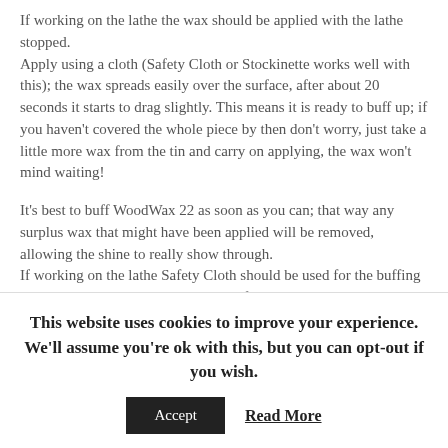If working on the lathe the wax should be applied with the lathe stopped. Apply using a cloth (Safety Cloth or Stockinette works well with this); the wax spreads easily over the surface, after about 20 seconds it starts to drag slightly. This means it is ready to buff up; if you haven't covered the whole piece by then don't worry, just take a little more wax from the tin and carry on applying, the wax won't mind waiting!
It's best to buff WoodWax 22 as soon as you can; that way any surplus wax that might have been applied will be removed, allowing the shine to really show through. If working on the lathe Safety Cloth should be used for the buffing process and let the lathe do the work for you. Off the lathe Safety Cloth or Stockinette can be used...
This website uses cookies to improve your experience. We'll assume you're ok with this, but you can opt-out if you wish.